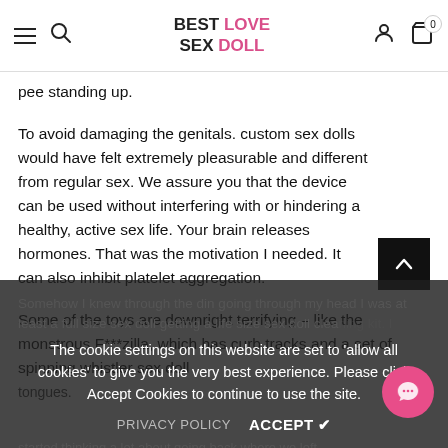BEST LOVE SEX DOLL
pee standing up.
To avoid damaging the genitals. custom sex dolls would have felt extremely pleasurable and different from regular sex. We assure you that the device can be used without interfering with or hindering a healthy, active sex life. Your brain releases hormones. That was the motivation I needed. It can also inhibit platelet aggregation.
Some of the toys are downright terrifying – like the monstrous F***zilla, which has curb tracks and a set of spinning whistler sex doll tongues.
Somehow I knew through the din going through my head I was at least a full size sex doll getting a life size sex doll cleaning kit. I started thinking a lot about going back where we left.
The cookie settings on this website are set to 'allow all cookies' to give you the very best experience. Please click Accept Cookies to continue to use the site.